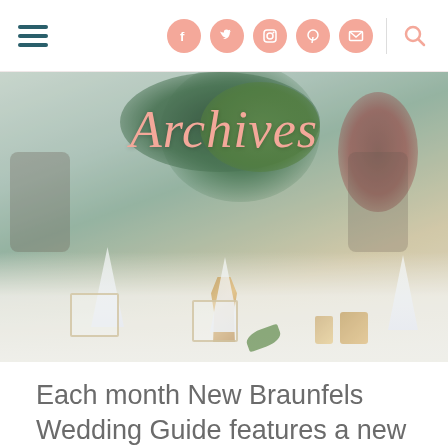Navigation header with hamburger menu, social icons (Facebook, Twitter, Instagram, Pinterest, Email), divider, and search icon
[Figure (photo): Wedding reception table setting with floral centerpiece (greenery and white flowers in a gold vase), white folded napkins in glasses, gold accents, and soft blurred background of an event venue. 'Archives' text overlaid in pink italic script.]
Archives
Each month New Braunfels Wedding Guide features a new bride to share her love story,